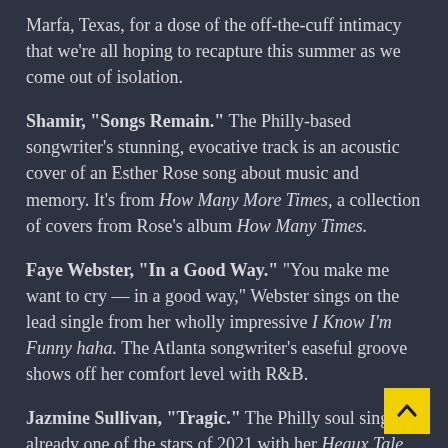Marfa, Texas, for a dose of the off-the-cuff intimacy that we're all hoping to recapture this summer as we come out of isolation.
Shamir, "Songs Remain." The Philly-based songwriter's stunning, evocative track is an acoustic cover of an Esther Rose song about music and memory. It's from How Many More Times, a collection of covers from Rose's album How Many Times.
Faye Webster, "In a Good Way." "You make me want to cry — in a good way," Webster sings on the lead single from her wholly impressive I Know I'm Funny haha. The Atlanta songwriter's easeful groove shows off her comfort level with R&B.
Jazmine Sullivan, "Tragic." The Philly soul singer is already one of the stars of 2021 with her Heaux Tales...